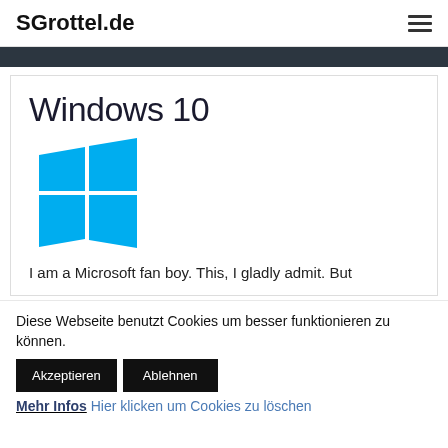SGrottel.de
Windows 10
[Figure (logo): Windows 10 logo — four cyan/blue squares arranged in a perspective window shape]
I am a Microsoft fan boy. This, I gladly admit. But
Diese Webseite benutzt Cookies um besser funktionieren zu können.
Akzeptieren   Ablehnen   Mehr Infos Hier klicken um Cookies zu löschen